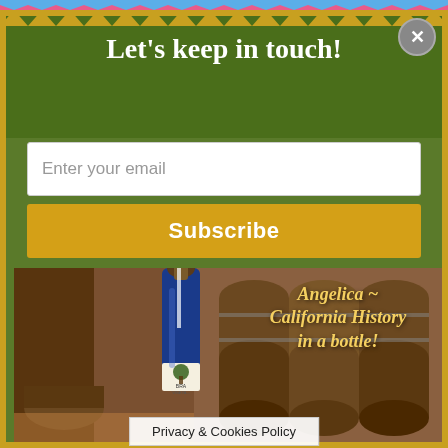Let's keep in touch!
Enter your email
Subscribe
[Figure (photo): A blue wine bottle labeled 'BRA... VINEYA... ANGELI...' held in a winery with oak barrels in the background. Text overlay reads 'Angelica ~ California History in a bottle!']
Angelica ~ California History in a bottle!
Privacy & Cookies Policy